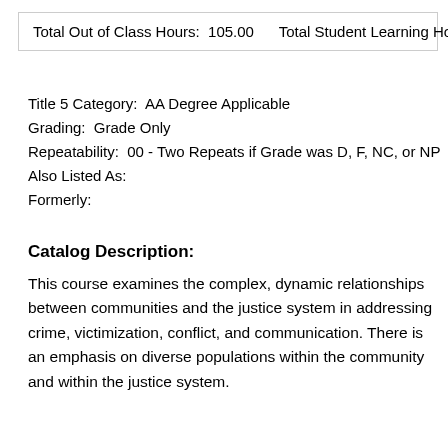| Total Out of Class Hours:  105.00     Total Student Learning Hou... |
Title 5 Category:  AA Degree Applicable
Grading:  Grade Only
Repeatability:  00 - Two Repeats if Grade was D, F, NC, or NP
Also Listed As:
Formerly:
Catalog Description:
This course examines the complex, dynamic relationships between communities and the justice system in addressing crime, victimization, conflict, and communication. There is an emphasis on diverse populations within the community and within the justice system.